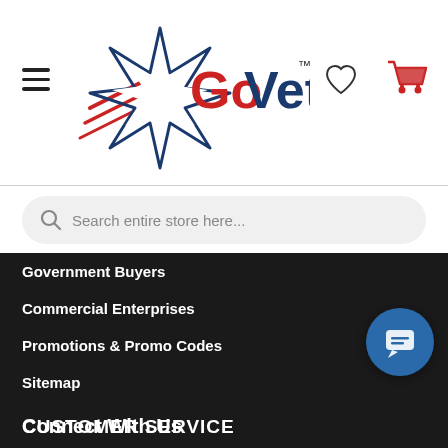[Figure (logo): GoVets logo with red/blue star and stylized text]
Search entire store here...
Government Buyers
Commercial Enterprises
Promotions & Promo Codes
Sitemap
Connect With Us
[Figure (infographic): Social media icons: Facebook, Twitter, LinkedIn circles]
CUSTOMER SERVICE